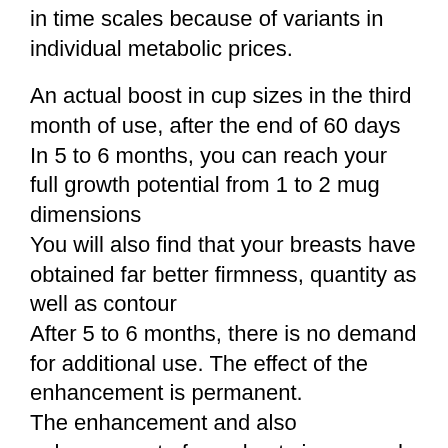in time scales because of variants in individual metabolic prices.
An actual boost in cup sizes in the third month of use, after the end of 60 days
In 5 to 6 months, you can reach your full growth potential from 1 to 2 mug dimensions
You will also find that your breasts have obtained far better firmness, quantity as well as contour
After 5 to 6 months, there is no demand for additional use. The effect of the enhancement is permanent.
The enhancement and also enhancement of your busts is ensured, as confirmed by the favorable results of thousands of individuals all over the world.